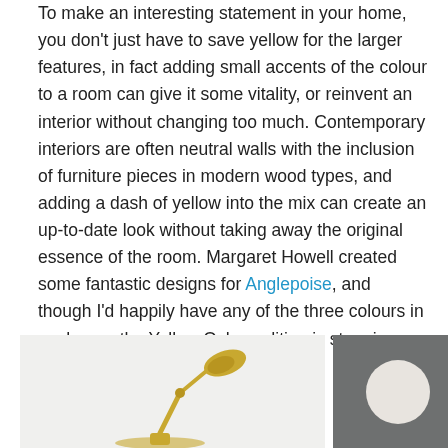To make an interesting statement in your home, you don't just have to save yellow for the larger features, in fact adding small accents of the colour to a room can give it some vitality, or reinvent an interior without changing too much. Contemporary interiors are often neutral walls with the inclusion of furniture pieces in modern wood types, and adding a dash of yellow into the mix can create an up-to-date look without taking away the original essence of the room. Margaret Howell created some fantastic designs for Anglepoise, and though I'd happily have any of the three colours in my home, the Yellow Ochre edition is stunning.
[Figure (photo): Two side-by-side images: left shows a yellow/gold Anglepoise desk lamp on a light grey background; right shows a round white disc/circle object on a dark grey background.]